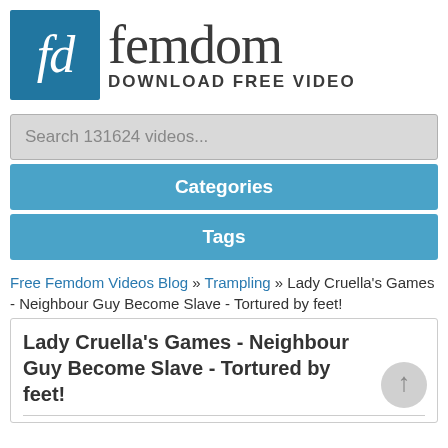[Figure (logo): fd femdom DOWNLOAD FREE VIDEO logo — blue square with 'fd' in white italic serif, next to large 'femdom' in dark serif and 'DOWNLOAD FREE VIDEO' in bold sans-serif]
Search 131624 videos...
Categories
Tags
Free Femdom Videos Blog » Trampling » Lady Cruella's Games - Neighbour Guy Become Slave - Tortured by feet!
Lady Cruella's Games - Neighbour Guy Become Slave - Tortured by feet!